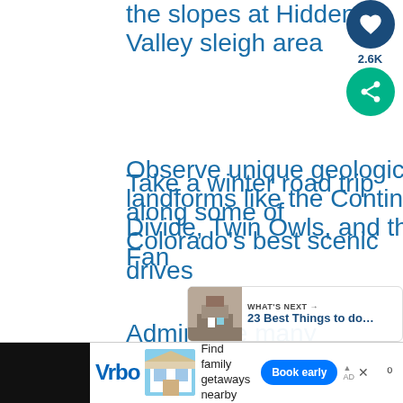the slopes at Hidden Valley sleigh area
Take a winter road trip along some of Colorado's best scenic drives
Observe unique geological landforms like the Continental Divide, Twin Owls, and the Alluvial Fan
Admire the many
[Figure (screenshot): Social sharing sidebar with heart/like button showing 2.6K count and a share button in teal/green]
[Figure (screenshot): What's Next card showing '23 Best Things to do...' with a building thumbnail]
[Figure (screenshot): Vrbo advertisement banner at bottom: 'Find family getaways nearby' with Book early button]